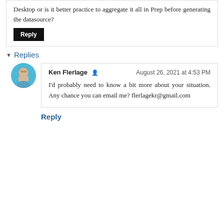Desktop or is it better practice to aggregate it all in Prep before generating the datasource?
Reply
Replies
Ken Flerlage  August 26, 2021 at 4:53 PM
I'd probably need to know a bit more about your situation. Any chance you can email me? flerlagekr@gmail.com
Reply